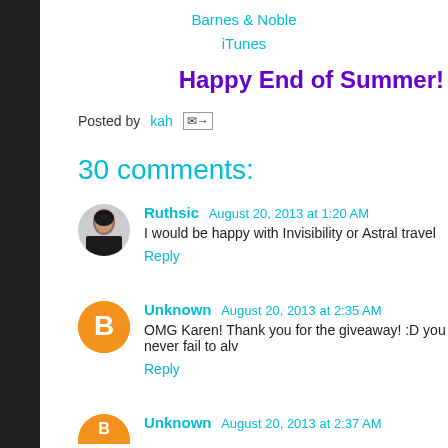Barnes & Noble
iTunes
Happy End of Summer!
Posted by kah
30 comments:
Ruthsic  August 20, 2013 at 1:20 AM
I would be happy with Invisibility or Astral travel
Reply
Unknown  August 20, 2013 at 2:35 AM
OMG Karen! Thank you for the giveaway! :D you never fail to alw
Reply
Unknown  August 20, 2013 at 2:37 AM